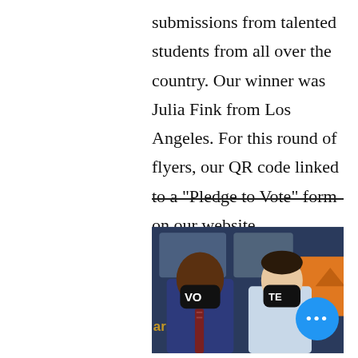submissions from talented students from all over the country. Our winner was Julia Fink from Los Angeles. For this round of flyers, our QR code linked to a "Pledge to Vote" form on our website.
[Figure (photo): Two men wearing black face masks that together read 'VOTE', standing in front of a blue bus with text 'Warnock'. The man on the left wears a navy suit with a striped tie; the man on the right wears a light blue dress shirt. A blue chat button overlay appears in the bottom right corner.]